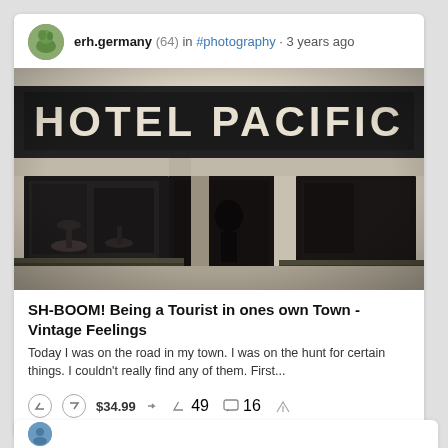erh.germany (64) in #photography · 3 years ago
[Figure (photo): Black and white photograph of Hotel Pacific storefront with large illuminated sign and glass windows]
SH-BOOM! Being a Tourist in ones own Town - Vintage Feelings
Today I was on the road in my town. I was on the hunt for certain things. I couldn't really find any of them. First...
$34.99  49  16